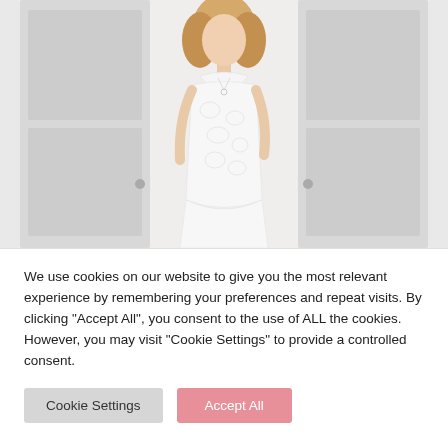[Figure (photo): A woman modeling a white lace halter-neck bridal gown, posed in front of white double doors, upper body visible to mid-thigh.]
We use cookies on our website to give you the most relevant experience by remembering your preferences and repeat visits. By clicking "Accept All", you consent to the use of ALL the cookies. However, you may visit "Cookie Settings" to provide a controlled consent.
Cookie Settings
Accept All